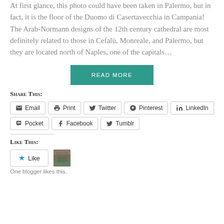At first glance, this photo could have been taken in Palermo, but in fact, it is the floor of the Duomo di Casertavecchia in Campania! The Arab-Normann designs of the 12th century cathedral are most definitely related to those in Cefalù, Monreale, and Palermo, but they are located north of Naples, one of the capitals…
READ MORE
Share This:
Email  Print  Twitter  Pinterest  LinkedIn  Pocket  Facebook  Tumblr
Like This:
Like
One blogger likes this.